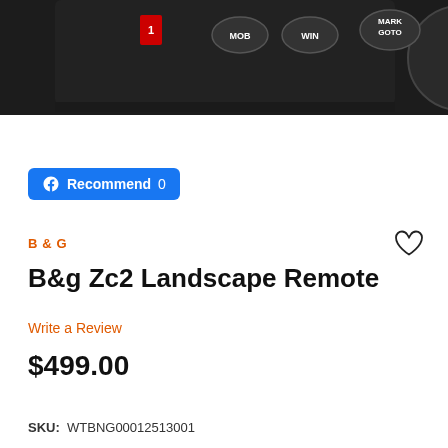[Figure (photo): Top portion of a black B&G ZC2 Landscape Remote control device showing buttons labeled MOB, WIN, and MARK GOTO]
[Figure (screenshot): Facebook Recommend button showing 0 recommendations]
B & G
B&g Zc2 Landscape Remote
Write a Review
$499.00
SKU:  WTBNG00012513001